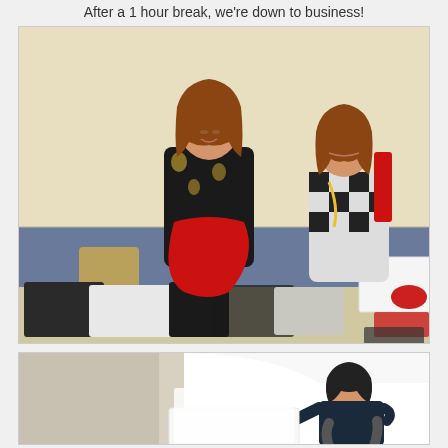After a 1 hour break, we're down to business!
[Figure (photo): Two women sitting on the floor sorting through clothing and shoes. The woman on the left holds up a red skirt while wearing a floral print top. The woman on the right holds a red high heel shoe and sits next to a white shoebox. Various clothing items are spread on a table in the foreground.]
[Figure (photo): A man crouching down and photographing items in a bright white studio/lightbox setup.]